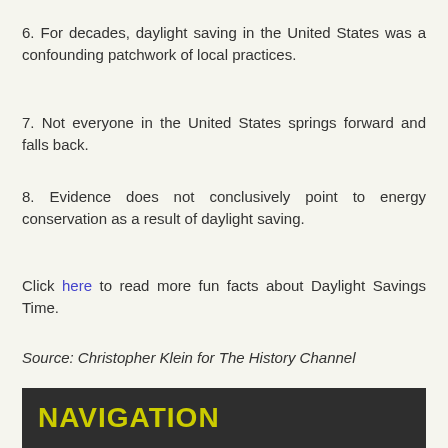6. For decades, daylight saving in the United States was a confounding patchwork of local practices.
7. Not everyone in the United States springs forward and falls back.
8. Evidence does not conclusively point to energy conservation as a result of daylight saving.
Click here to read more fun facts about Daylight Savings Time.
Source:  Christopher Klein for The History Channel
NAVIGATION
Fencing/Gates
Fertilizer